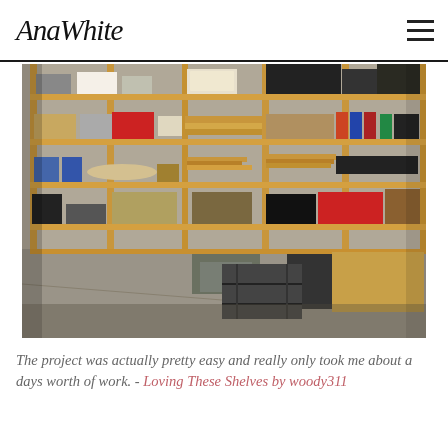AnaWhite
[Figure (photo): Interior photo of a garage workshop with large DIY wooden shelving units filled with tools, boxes, lumber, a red cooler, spray cans, an air compressor, and other workshop items on a concrete floor.]
The project was actually pretty easy and really only took me about a days worth of work. - Loving These Shelves by woody311